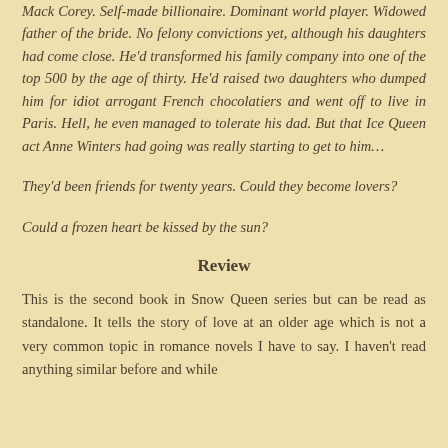Mack Corey. Self-made billionaire. Dominant world player. Widowed father of the bride. No felony convictions yet, although his daughters had come close. He'd transformed his family company into one of the top 500 by the age of thirty. He'd raised two daughters who dumped him for idiot arrogant French chocolatiers and went off to live in Paris. Hell, he even managed to tolerate his dad. But that Ice Queen act Anne Winters had going was really starting to get to him…
They'd been friends for twenty years. Could they become lovers?
Could a frozen heart be kissed by the sun?
Review
This is the second book in Snow Queen series but can be read as standalone. It tells the story of love at an older age which is not a very common topic in romance novels I have to say. I haven't read anything similar before and while